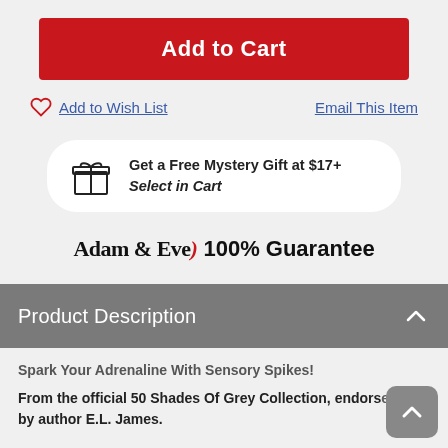Add to Cart
Add to Wish List
Email This Item
Get a Free Mystery Gift at $17+ Select in Cart
[Figure (logo): Adam & Eve logo with red swash, followed by '100% Guarantee' text]
Product Description
Spark Your Adrenaline With Sensory Spikes!
From the official 50 Shades Of Grey Collection, endorsed by author E.L. James.